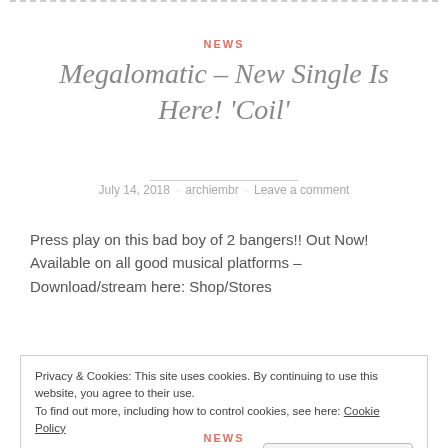NEWS
Megalomatic – New Single Is Here! 'Coil'
July 14, 2018 · archiembr · Leave a comment
Press play on this bad boy of 2 bangers!! Out Now! Available on all good musical platforms – Download/stream here: Shop/Stores
Privacy & Cookies: This site uses cookies. By continuing to use this website, you agree to their use. To find out more, including how to control cookies, see here: Cookie Policy
NEWS